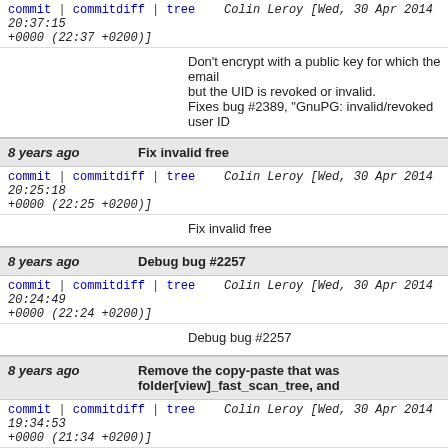commit | commitdiff | tree   Colin Leroy [Wed, 30 Apr 2014 20:37:15 +0000 (22:37 +0200)]
Don't encrypt with a public key for which the email but the UID is revoked or invalid. Fixes bug #2389, "GnuPG: invalid/revoked user ID
8 years ago   Fix invalid free
commit | commitdiff | tree   Colin Leroy [Wed, 30 Apr 2014 20:25:18 +0000 (22:25 +0200)]
Fix invalid free
8 years ago   Debug bug #2257
commit | commitdiff | tree   Colin Leroy [Wed, 30 Apr 2014 20:24:49 +0000 (22:24 +0200)]
Debug bug #2257
8 years ago   Remove the copy-paste that was folder[view]_fast_scan_tree, and
commit | commitdiff | tree   Colin Leroy [Wed, 30 Apr 2014 19:34:53 +0000 (21:34 +0200)]
Remove the copy-